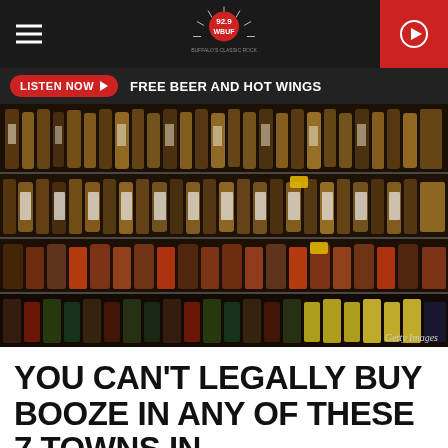92.9 WBUF
LISTEN NOW ▶  FREE BEER AND HOT WINGS
[Figure (photo): Liquor store shelves stocked with many bottles of whiskey and spirits, viewed from a low angle. Getty Images watermark in lower right.]
YOU CAN'T LEGALLY BUY BOOZE IN ANY OF THESE 7 TOWNS IN